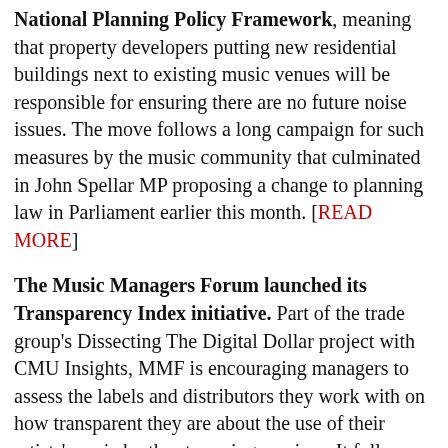National Planning Policy Framework, meaning that property developers putting new residential buildings next to existing music venues will be responsible for ensuring there are no future noise issues. The move follows a long campaign for such measures by the music community that culminated in John Spellar MP proposing a change to planning law in Parliament earlier this month. [READ MORE]
The Music Managers Forum launched its Transparency Index initiative. Part of the trade group's Dissecting The Digital Dollar project with CMU Insights, MMF is encouraging managers to assess the labels and distributors they work with on how transparent they are about the use of their artists' music by the streaming services. It follows the publication last year of 'The Transparency Guide', which identified 20 pieces of data and information managers need to fully understand and audit their artists' streaming businesses. [READ MORE]